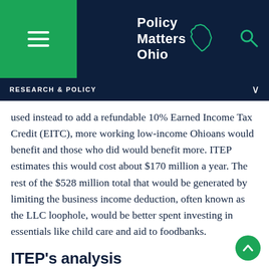Policy Matters Ohio
RESEARCH & POLICY
used instead to add a refundable 10% Earned Income Tax Credit (EITC), more working low-income Ohioans would benefit and those who did would benefit more. ITEP estimates this would cost about $170 million a year. The rest of the $528 million total that would be generated by limiting the business income deduction, often known as the LLC loophole, would be better spent investing in essentials like child care and aid to foodbanks.
ITEP’s analysis
Chart 1 shows the share of the big tax cut…